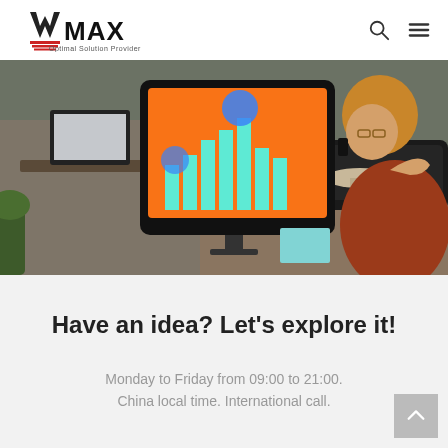VMAX — Optimal Solution Provider header with search and menu icons
[Figure (photo): Woman talking on phone in a modern office environment, with a large monitor displaying an orange bar chart presentation visible in the foreground]
Have an idea? Let's explore it!
Monday to Friday from 09:00 to 21:00. China local time. International call.